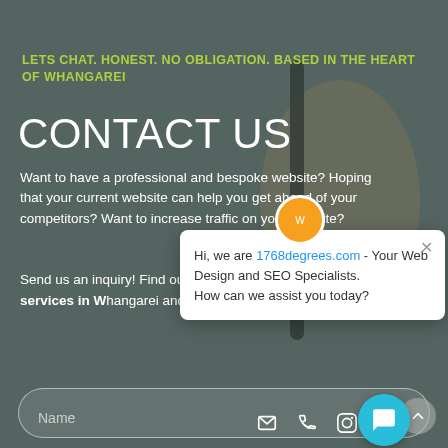[Figure (screenshot): Background photo of a hand holding a pen/pencil on a desk, overlaid with a dark semi-transparent layer]
LETS CHAT. HONEST. NO OBLIGATION. BASED IN THE HEART OF WHANGAREI
CONTACT US
Want to have a professional and bespoke website? Hoping that your current website can help you get ahead of your competitors? Want to increase traffic on your website?
Send us an inquiry! Find out with our expertise and SEO services in Whangarei and the whole of NZ.
[Figure (screenshot): Chat popup widget showing: Hi, we are 1768degrees.com - Your Web Design and SEO Specialists. How can we assist you today? With a close (X) button.]
Name (input field placeholder)